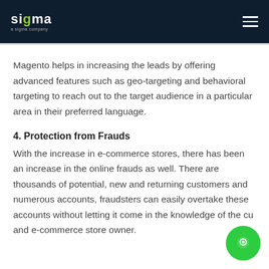sigma
Magento helps in increasing the leads by offering advanced features such as geo-targeting and behavioral targeting to reach out to the target audience in a particular area in their preferred language.
4. Protection from Frauds
With the increase in e-commerce stores, there has been an increase in the online frauds as well. There are thousands of potential, new and returning customers and numerous accounts, fraudsters can easily overtake these accounts without letting it come in the knowledge of the cu and e-commerce store owner.